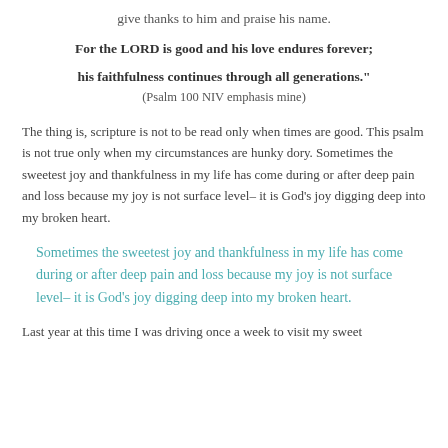give thanks to him and praise his name.
For the LORD is good and his love endures forever;
his faithfulness continues through all generations."
(Psalm 100 NIV emphasis mine)
The thing is, scripture is not to be read only when times are good. This psalm is not true only when my circumstances are hunky dory. Sometimes the sweetest joy and thankfulness in my life has come during or after deep pain and loss because my joy is not surface level– it is God’s joy digging deep into my broken heart.
Sometimes the sweetest joy and thankfulness in my life has come during or after deep pain and loss because my joy is not surface level– it is God’s joy digging deep into my broken heart.
Last year at this time I was driving once a week to visit my sweet